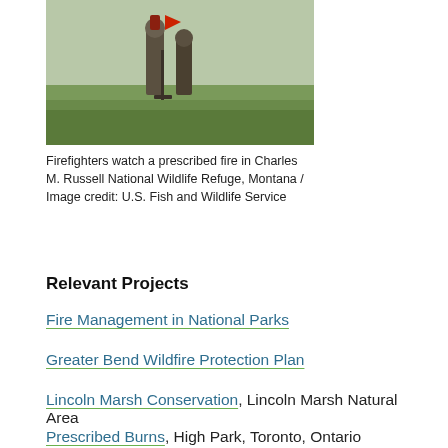[Figure (photo): Firefighters watching a prescribed fire in a grassy field at Charles M. Russell National Wildlife Refuge, Montana]
Firefighters watch a prescribed fire in Charles M. Russell National Wildlife Refuge, Montana / Image credit: U.S. Fish and Wildlife Service
Relevant Projects
Fire Management in National Parks
Greater Bend Wildfire Protection Plan
Lincoln Marsh Conservation, Lincoln Marsh Natural Area
Exhibiting the Ground: Applying Fire as a Design Element for the Stapleton Community
Prescribed Burns, High Park, Toronto, Ontario